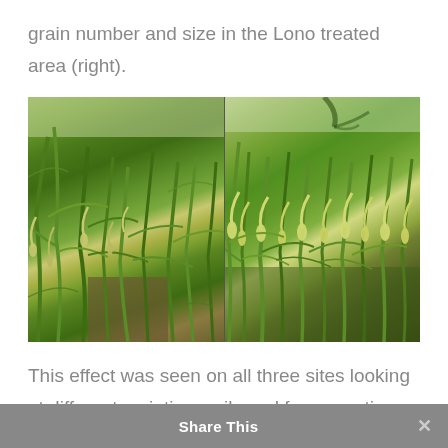grain number and size in the Lono treated area (right).
[Figure (photo): Two side-by-side photographs of rice plants in a field. Left photo shows rice crop without Lono treatment; right photo shows rice crop in the Lono treated area with more prominent grain heads.]
This effect was seen on all three sites looking at different varieties, soils and farm practices. With significant differences still in number, grain
Share This ×